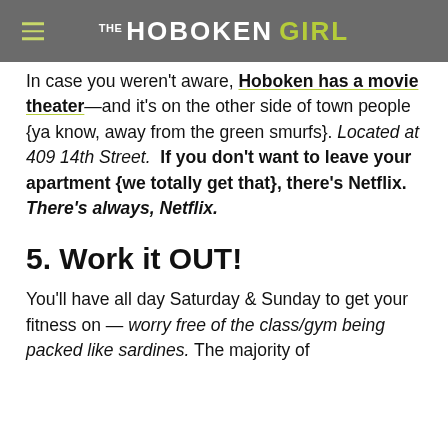THE HOBOKEN GIRL
In case you weren't aware, Hoboken has a movie theater—and it's on the other side of town people {ya know, away from the green smurfs}. Located at 409 14th Street.  If you don't want to leave your apartment {we totally get that}, there's Netflix. There's always, Netflix.
5. Work it OUT!
You'll have all day Saturday & Sunday to get your fitness on — worry free of the class/gym being packed like sardines. The majority of